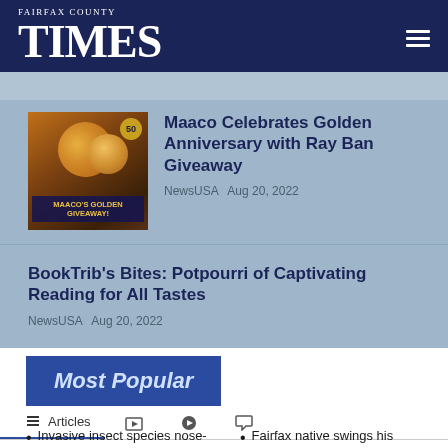Fairfax County Times
[Figure (photo): Maaco Golden Giveaway promotional image with golden Ray-Ban sunglasses on a dark background, 50th anniversary badge visible]
Maaco Celebrates Golden Anniversary with Ray Ban Giveaway
NewsUSA  Aug 20, 2022
BookTrib's Bites: Potpourri of Captivating Reading for All Tastes
NewsUSA  Aug 20, 2022
Most Popular
Articles
Invasive insect species nose-
Fairfax native swings his